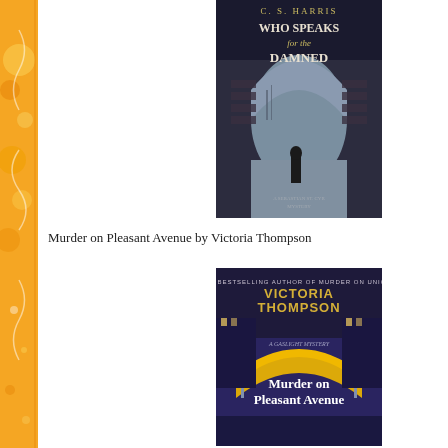[Figure (illustration): Decorative orange/yellow sidebar with swirling pattern on the left edge of the page]
[Figure (photo): Book cover: 'Who Speaks for the Damned' by C.S. Harris - a Sebastian St. Cyr Mystery, showing a dark archway with a silhouetted figure]
Murder on Pleasant Avenue by Victoria Thompson
[Figure (photo): Book cover: 'Murder on Pleasant Avenue' by Victoria Thompson - a Gaslight Mystery, showing a colorful street scene with an illuminated arch]